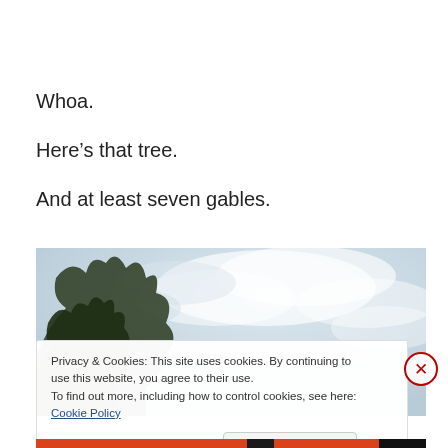Whoa.
Here’s that tree.
And at least seven gables.
[Figure (photo): Outdoor photo showing tree foliage in lower left and overcast cloudy sky filling most of frame]
Privacy & Cookies: This site uses cookies. By continuing to use this website, you agree to their use.
To find out more, including how to control cookies, see here: Cookie Policy
Close and accept